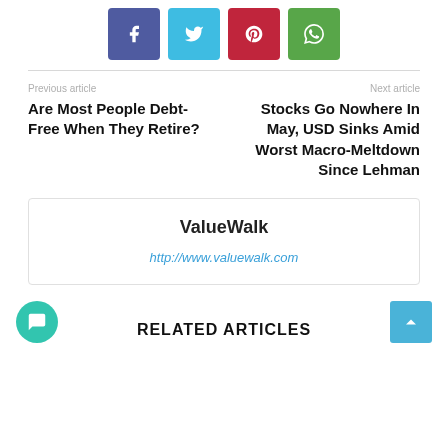[Figure (other): Social share buttons row: Facebook (purple-blue), Twitter (light blue), Pinterest (red), WhatsApp (green)]
Previous article
Are Most People Debt-Free When They Retire?
Next article
Stocks Go Nowhere In May, USD Sinks Amid Worst Macro-Meltdown Since Lehman
ValueWalk
http://www.valuewalk.com
RELATED ARTICLES